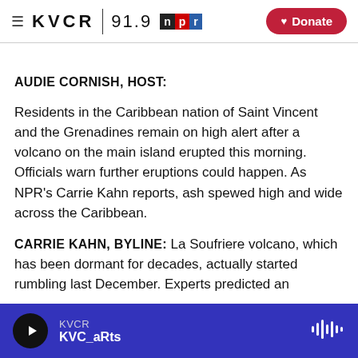KVCR 91.9 NPR | Donate
AUDIE CORNISH, HOST:
Residents in the Caribbean nation of Saint Vincent and the Grenadines remain on high alert after a volcano on the main island erupted this morning. Officials warn further eruptions could happen. As NPR's Carrie Kahn reports, ash spewed high and wide across the Caribbean.
CARRIE KAHN, BYLINE: La Soufriere volcano, which has been dormant for decades, actually started rumbling last December. Experts predicted an
KVCR | KVC_aRts